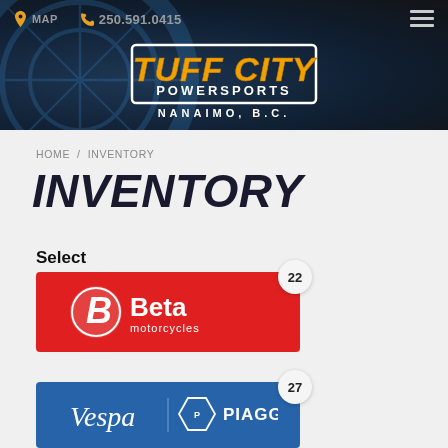MAP  250.591.0415
[Figure (logo): Tuff City Powersports logo with text NANAIMO, B.C. on dark background with motorcycle wheel]
HOME / INVENTORY
INVENTORY
Select
[Figure (logo): Beta Motorcycles logo - red background with white Beta B logo and text Beta motorcycles, badge showing 22]
[Figure (logo): Vespa and Piaggio logos on blue background, badge showing 27]